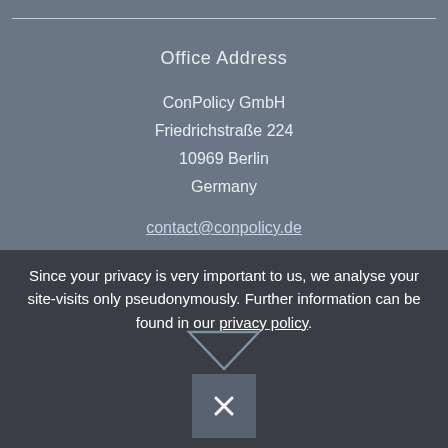Office Address
ConPolicy GmbH
Friedrichstraße 224
10969 Berlin
Germany
contact@conpolicy.de
Tel: +49 (0)30 2359116-0
Fax: +49 (0)30 2359116-99
Privacy policy · Career · Newsletter · Imprint · Search
Since your privacy is very important to us, we analyse your site-visits only pseudonymously. Further information can be found in our privacy policy.